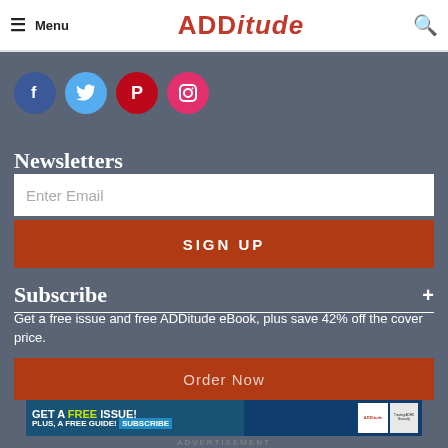Menu | ADDITUDE
[Figure (infographic): Social media icons row: Facebook (dark blue circle), Twitter (light blue circle), Pinterest (dark red circle), Instagram (red circle)]
Newsletters
Enter Email
SIGN UP
Subscribe +
Get a free issue and free ADDitude eBook, plus save 42% off the cover price.
Order Now
[Figure (infographic): ADDitude magazine advertisement: GET A FREE ISSUE! PLUS, A FREE GUIDE! SUBSCRIBE button, with magazine cover images showing 'Treating ADHD Naturally']
ADVERTISEMENT